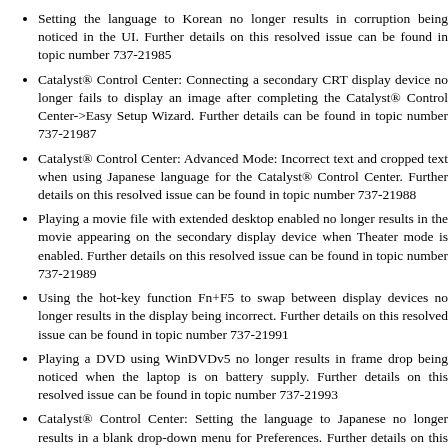Setting the language to Korean no longer results in corruption being noticed. Further details on this resolved issue can be found in topic number 737-21985
Catalyst® Control Center: Connecting a secondary CRT display device no longer fails to display an image after completing the Catalyst® Control Center->Easy Setup Wizard. Further details can be found in topic number 737-21987
Catalyst® Control Center: Advanced Mode: Incorrect text and cropped text when using Japanese language for the Catalyst® Control Center. Further details on this resolved issue can be found in topic number 737-21988
Playing a movie file with extended desktop enabled no longer results in the movie appearing on the secondary display device when Theater mode is enabled. Further details on this resolved issue can be found in topic number 737-21989
Using the hot-key function Fn+F5 to swap between display devices no longer results in the display being incorrect. Further details on this resolved issue can be found in topic number 737-21991
Playing a DVD using WinDVDv5 no longer results in frame drop being noticed when the laptop is on battery supply. Further details on this resolved issue can be found in topic number 737-21993
Catalyst® Control Center: Setting the language to Japanese no longer results in a blank drop-down menu for Preferences. Further details on this resolved issue can be found in topic number 737-21994
Connecting a CRT to a system containing an ATI Xpress 200 series no longer results in the CRT being listed as not supported in the Monitor Attributes page of the Catalyst® Control Center. Further details on this resolved issue can be found in topic number 737-21995
Catalyst® Control Center: Using hot-keys to toggle between the secondary display settings no longer results in the display setting not reflecting the current setting. Further details on this resolved issue can be found in topic number 737-21996
Setting the CRT as the primary and the LCD display device as the secondary no longer results in the image being displayed in a centering mode on the secondary display device. Further details on this resolved issue can be found in topic number 737-21997